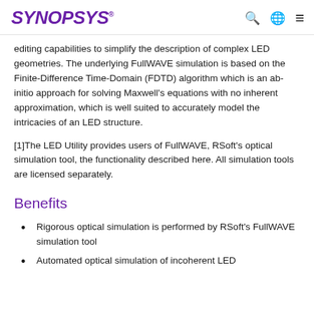SYNOPSYS
editing capabilities to simplify the description of complex LED geometries. The underlying FullWAVE simulation is based on the Finite-Difference Time-Domain (FDTD) algorithm which is an ab-initio approach for solving Maxwell's equations with no inherent approximation, which is well suited to accurately model the intricacies of an LED structure.
[1]The LED Utility provides users of FullWAVE, RSoft's optical simulation tool, the functionality described here. All simulation tools are licensed separately.
Benefits
Rigorous optical simulation is performed by RSoft's FullWAVE simulation tool
Automated optical simulation of incoherent LED